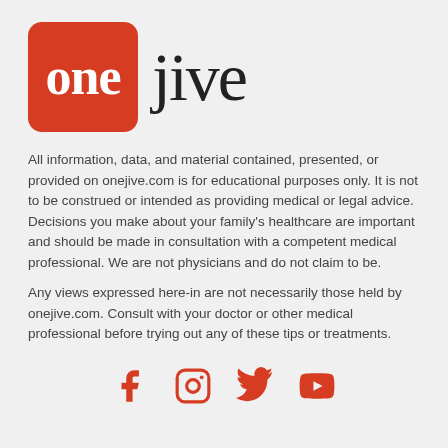[Figure (logo): OneJive logo: red rounded square with white 'one' text in serif font, followed by 'jive' in large dark serif font]
All information, data, and material contained, presented, or provided on onejive.com is for educational purposes only. It is not to be construed or intended as providing medical or legal advice. Decisions you make about your family's healthcare are important and should be made in consultation with a competent medical professional. We are not physicians and do not claim to be.
Any views expressed here-in are not necessarily those held by onejive.com. Consult with your doctor or other medical professional before trying out any of these tips or treatments.
[Figure (illustration): Four social media icons in red: Facebook, Instagram, Twitter, YouTube]